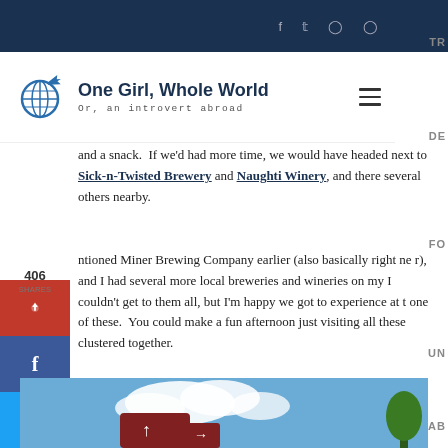One Girl, Whole World | Or, an introvert abroad
and a snack. If we'd had more time, we would have headed next to Sick-n-Twisted Brewery and Naughti Winery, and there several others nearby.
ntioned Miner Brewing Company earlier (also basically right ne r), and I had several more local breweries and wineries on my I couldn't get to them all, but I'm happy we got to experience at t one of these. You could make a fun afternoon just visiting all these clustered together.
[Figure (photo): Photo showing a directional sign with arrows against a blue sky with clouds and trees]